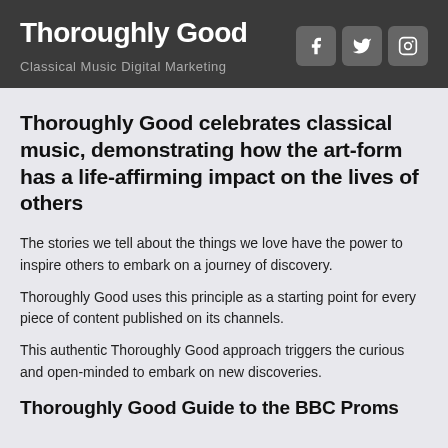Thoroughly Good
Classical Music Digital Marketing
Thoroughly Good celebrates classical music, demonstrating how the art-form has a life-affirming impact on the lives of others
The stories we tell about the things we love have the power to inspire others to embark on a journey of discovery.
Thoroughly Good uses this principle as a starting point for every piece of content published on its channels.
This authentic Thoroughly Good approach triggers the curious and open-minded to embark on new discoveries.
Thoroughly Good Guide to the BBC Proms